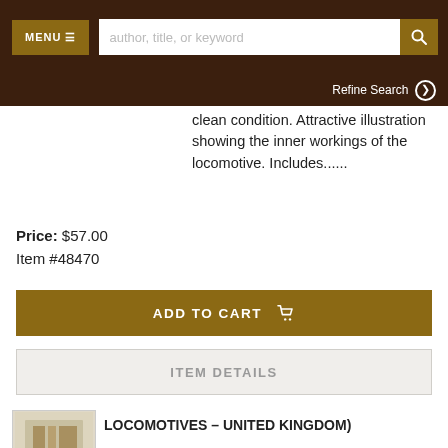MENU  [search bar: author, title, or keyword]  [search button]
Refine Search ❯
clean condition. Attractive illustration showing the inner workings of the locomotive. Includes......
Price: $57.00
Item #48470
ADD TO CART
ITEM DETAILS
ADD TO WISH LIST
[Figure (photo): Small thumbnail image of a book or item listing]
LOCOMOTIVES - UNITED KINGDOM)